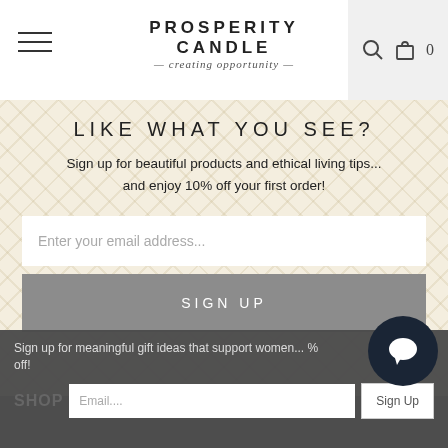PROSPERITY CANDLE — creating opportunity —
LIKE WHAT YOU SEE?
Sign up for beautiful products and ethical living tips... and enjoy 10% off your first order!
Enter your email address...
SIGN UP
Sign up for meaningful gift ideas that support women... % off!
SHOP
Email....
Sign Up